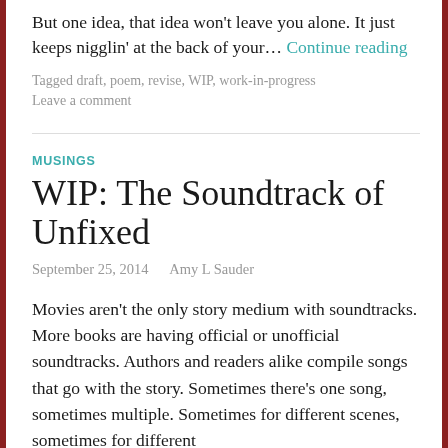But one idea, that idea won't leave you alone. It just keeps nigglin' at the back of your… Continue reading
Tagged draft, poem, revise, WIP, work-in-progress
Leave a comment
MUSINGS
WIP: The Soundtrack of Unfixed
September 25, 2014   Amy L Sauder
Movies aren't the only story medium with soundtracks. More books are having official or unofficial soundtracks. Authors and readers alike compile songs that go with the story. Sometimes there's one song, sometimes multiple. Sometimes for different scenes, sometimes for different